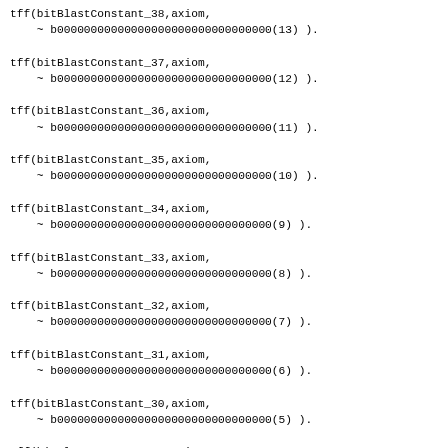tff(bitBlastConstant_38,axiom,
    ~ b00000000000000000000000000000000(13) ).
tff(bitBlastConstant_37,axiom,
    ~ b00000000000000000000000000000000(12) ).
tff(bitBlastConstant_36,axiom,
    ~ b00000000000000000000000000000000(11) ).
tff(bitBlastConstant_35,axiom,
    ~ b00000000000000000000000000000000(10) ).
tff(bitBlastConstant_34,axiom,
    ~ b00000000000000000000000000000000(9) ).
tff(bitBlastConstant_33,axiom,
    ~ b00000000000000000000000000000000(8) ).
tff(bitBlastConstant_32,axiom,
    ~ b00000000000000000000000000000000(7) ).
tff(bitBlastConstant_31,axiom,
    ~ b00000000000000000000000000000000(6) ).
tff(bitBlastConstant_30,axiom,
    ~ b00000000000000000000000000000000(5) ).
tff(bitBlastConstant_29,axiom,
    ~ b00000000000000000000000000000000(4) ).
tff(bitBlastConstant_28,axiom,